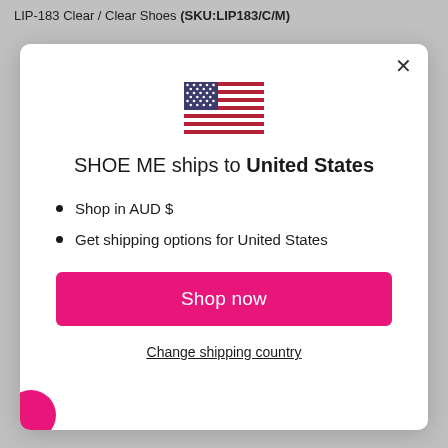LIP-183 Clear / Clear Shoes (SKU:LIP183/C/M)
[Figure (illustration): US flag emoji SVG]
SHOE ME ships to United States
Shop in AUD $
Get shipping options for United States
Shop now
Change shipping country